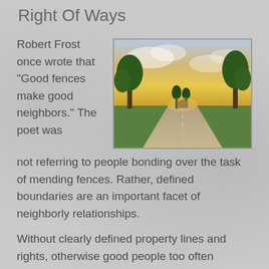Right Of Ways
Robert Frost once wrote that “Good fences make good neighbors.” The poet was not referring to people bonding over the task of mending fences. Rather, defined boundaries are an important facet of neighborly relationships.
[Figure (photo): A straight gravel country road lined with tall trees on both sides, leading toward a building in the distance, photographed at sunset with golden sky.]
Without clearly defined property lines and rights, otherwise good people too often become embroiled in land disputes. That’s why a basic